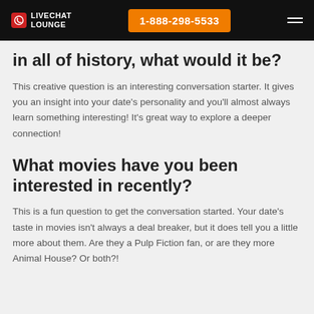LiveChat Lounge | 1-888-298-5533
in all of history, what would it be?
This creative question is an interesting conversation starter. It gives you an insight into your date's personality and you'll almost always learn something interesting! It's great way to explore a deeper connection!
What movies have you been interested in recently?
This is a fun question to get the conversation started. Your date's taste in movies isn't always a deal breaker, but it does tell you a little more about them. Are they a Pulp Fiction fan, or are they more Animal House? Or both?!